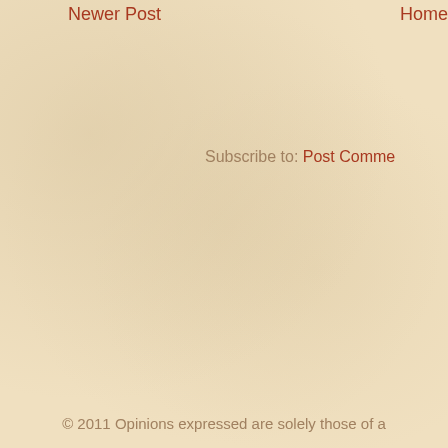Newer Post
Home
Subscribe to: Post Comments
© 2011 Opinions expressed are solely those of a